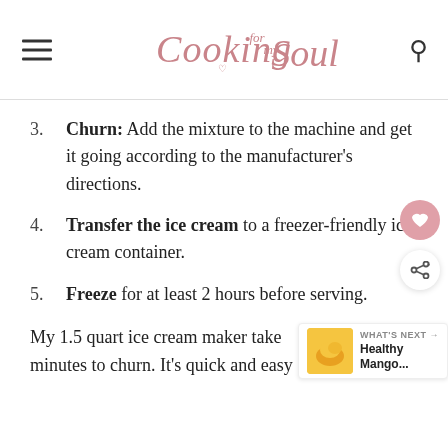Cooking for my Soul
Churn: Add the mixture to the machine and get it going according to the manufacturer's directions.
Transfer the ice cream to a freezer-friendly ice cream container.
Freeze for at least 2 hours before serving.
My 1.5 quart ice cream maker takes minutes to churn. It's quick and easy.